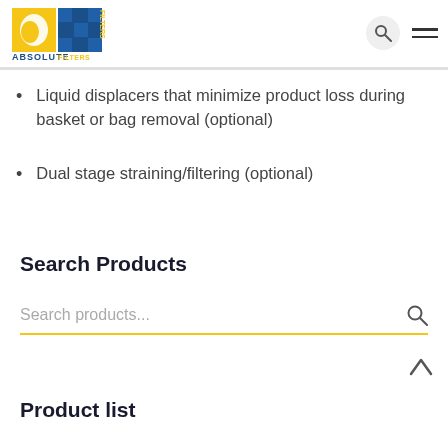Absolute Filters logo, search icon, hamburger menu
Liquid displacers that minimize product loss during basket or bag removal (optional)
Dual stage straining/filtering (optional)
Search Products
Search products...
Product list